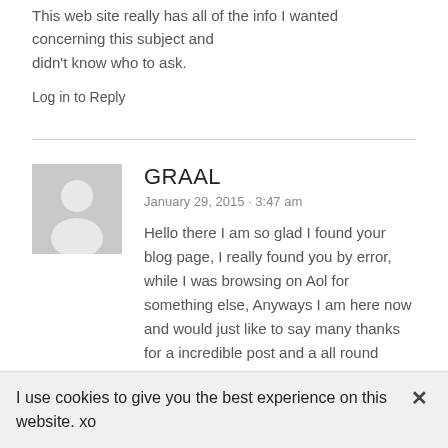This web site really has all of the info I wanted concerning this subject and didn't know who to ask.
Log in to Reply
GRAAL
January 29, 2015 · 3:47 am
Hello there I am so glad I found your blog page, I really found you by error, while I was browsing on Aol for something else, Anyways I am here now and would just like to say many thanks for a incredible post and a all round
I use cookies to give you the best experience on this website. xo